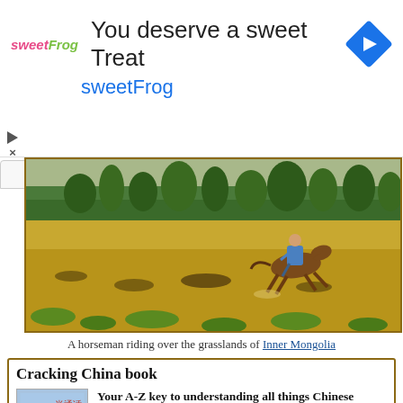[Figure (infographic): Advertisement banner for sweetFrog: logo on left, text 'You deserve a sweet Treat' and 'sweetFrog' in blue, blue diamond navigation icon on right, with play and X controls at bottom left.]
[Figure (photo): A horseman riding over the grasslands of Inner Mongolia. Wide open golden-brown grassland with trees in the background. The rider is galloping on a brown horse.]
A horseman riding over the grasslands of Inner Mongolia
Cracking China book
[Figure (illustration): Book cover of 'Cracking China' with blue background, Chinese characters, lotus flower motif, and bold text.]
Your A-Z key to understanding all things Chinese
We are proud to announce a new